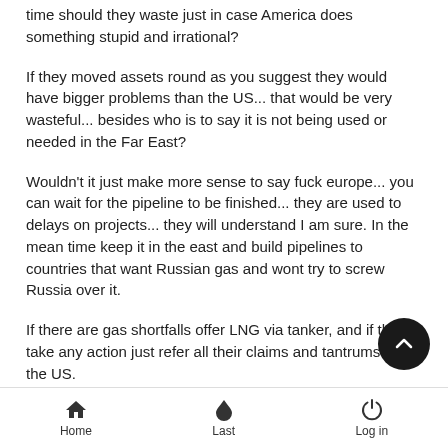time should they waste just in case America does something stupid and irrational?
If they moved assets round as you suggest they would have bigger problems than the US... that would be very wasteful... besides who is to say it is not being used or needed in the Far East?
Wouldn't it just make more sense to say fuck europe... you can wait for the pipeline to be finished... they are used to delays on projects... they will understand I am sure. In the mean time keep it in the east and build pipelines to countries that want Russian gas and wont try to screw Russia over it.
If there are gas shortfalls offer LNG via tanker, and if they take any action just refer all their claims and tantrums to the US.
Even though I can see the realpolitik benefit of paving the
Home   Last   Log in